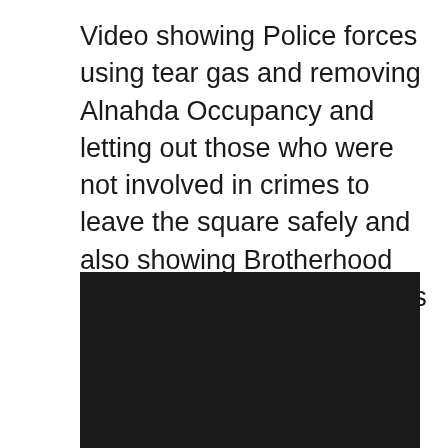Video showing Police forces using tear gas and removing Alnahda Occupancy and letting out those who were not involved in crimes to leave the square safely and also showing Brotherhood supporters carrying weapons and knives, arrested by the police forces
[Figure (photo): A mostly black/dark image, likely a video screenshot or embed placeholder]